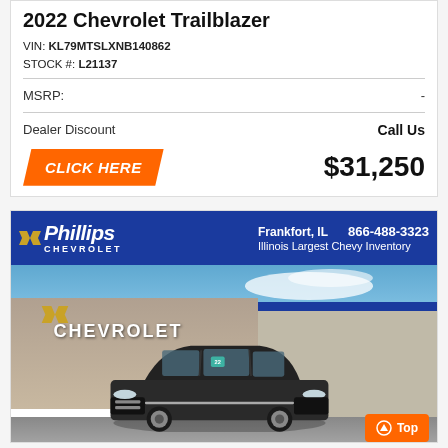2022 Chevrolet Trailblazer
VIN: KL79MTSLXNB140862
STOCK #: L21137
| MSRP: | - |
| Dealer Discount | Call Us |
CLICK HERE
$31,250
[Figure (photo): Phillips Chevrolet dealership exterior with a 2022 Chevrolet Trailblazer parked in front. Blue banner at top reads Phillips Chevrolet, Frankfort IL, 866-488-3323, Illinois Largest Chevy Inventory.]
Top